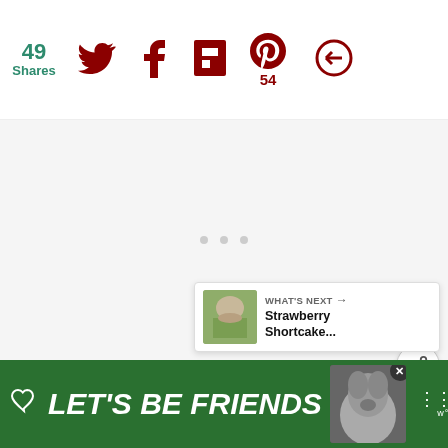[Figure (screenshot): Social sharing toolbar showing 49 Shares counter in teal, and icons for Twitter, Facebook, Flipboard, Pinterest (with 54 count), and another share option — all icons in dark red/maroon color]
[Figure (screenshot): Main content area — large white/light gray blank area (content not loaded), with two floating action buttons on the right side: a teal heart/like button and a white share button]
[Figure (screenshot): What's Next widget in lower right showing a small food thumbnail and the text 'Strawberry Shortcake...']
[Figure (screenshot): Advertisement banner at bottom with dark green background, heart icon, italic white text 'LET'S BE FRIENDS', husky dog photo, close X button, and Whisk app logo]